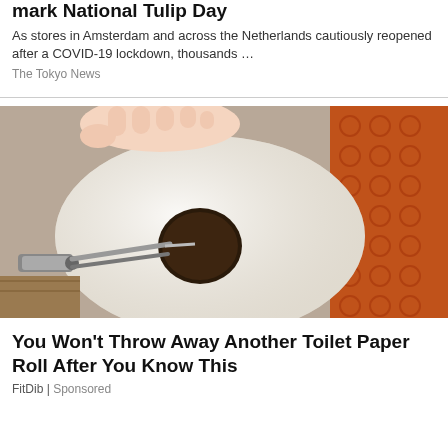mark National Tulip Day
As stores in Amsterdam and across the Netherlands cautiously reopened after a COVID-19 lockdown, thousands …
The Tokyo News
[Figure (photo): A hand holding a toilet paper roll with pliers/tool inserted into the cardboard tube center. Toilet paper roll is white, background shows an orange patterned fabric.]
You Won't Throw Away Another Toilet Paper Roll After You Know This
FitDib | Sponsored